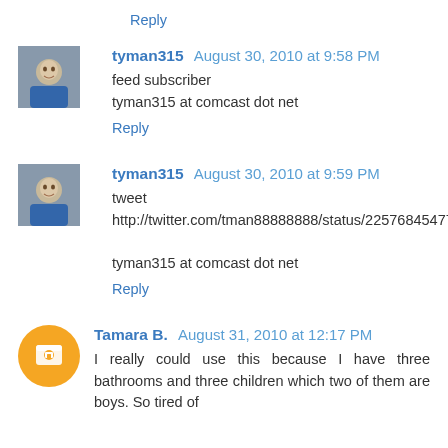Reply
tyman315 August 30, 2010 at 9:58 PM
feed subscriber
tyman315 at comcast dot net
Reply
tyman315 August 30, 2010 at 9:59 PM
tweet
http://twitter.com/tman88888888/status/22576845477
tyman315 at comcast dot net
Reply
Tamara B. August 31, 2010 at 12:17 PM
I really could use this because I have three bathrooms and three children which two of them are boys. So tired of